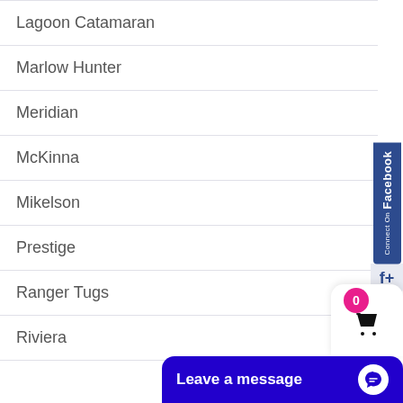Lagoon Catamaran
Marlow Hunter
Meridian
McKinna
Mikelson
Prestige
Ranger Tugs
Riviera